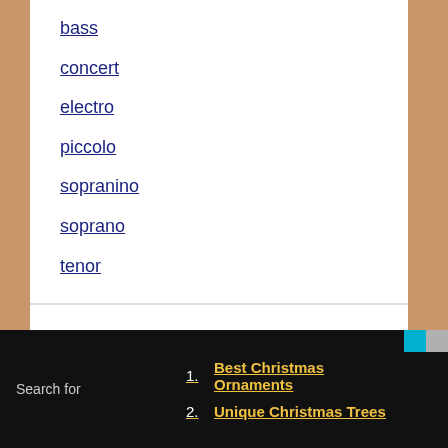bass
concert
electro
piccolo
sopranino
soprano
tenor
The Got A Ukulele Beginners Guide Book
[Figure (photo): Book cover showing 'THE COMPLETE WHAT UKULELE PLAYERS...' text on a dark background with instrument imagery]
Search for
1. Best Christmas Ornaments
2. Unique Christmas Trees